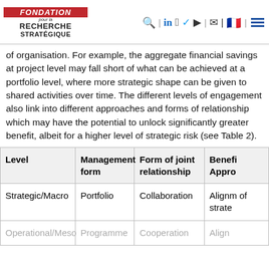Fondation pour la Recherche Stratégique
of organisation. For example, the aggregate financial savings at project level may fall short of what can be achieved at a portfolio level, where more strategic shape can be given to shared activities over time. The different levels of engagement also link into different approaches and forms of relationship which may have the potential to unlock significantly greater benefit, albeit for a higher level of strategic risk (see Table 2).
| Level | Management form | Form of joint relationship | Benefit Appro... |
| --- | --- | --- | --- |
| Strategic/Macro | Portfolio | Collaboration | Alignm of strate... |
| Operational/Meso... | Programme | Cooperation | Align... |